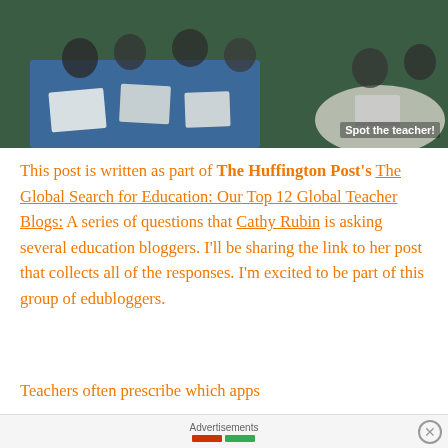[Figure (photo): Overhead or wide shot of students sitting around tables working, possibly with laptops and papers. A 'Spot the teacher!' label appears in the bottom-right corner of the photo.]
This post is written as part of The Huffington Post's The Global Search for Education: Our Top 12 Global Teacher Blogs: A series of questions that Cathy Rubin is asking several education bloggers. I'll be sharing the link to her post that collects all of the responses. I'm excited to be part of this group of edubloggers.
Teachers often prescribe which apps
Advertisements